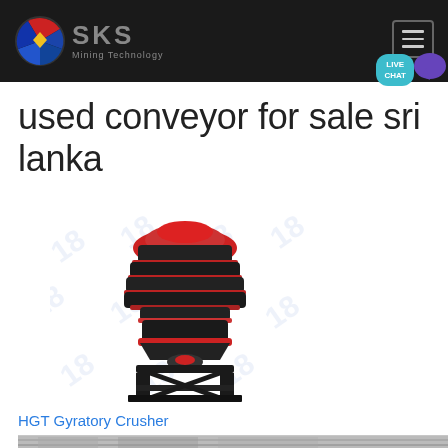SKS Mining Technology
used conveyor for sale sri lanka
[Figure (photo): HGT Gyratory Crusher machine — a large industrial cone crusher with black and red body mounted on a steel frame stand, shown against white background with watermark pattern]
HGT Gyratory Crusher
[Figure (photo): Partial view of industrial conveyor or facility interior, cropped at bottom of page]